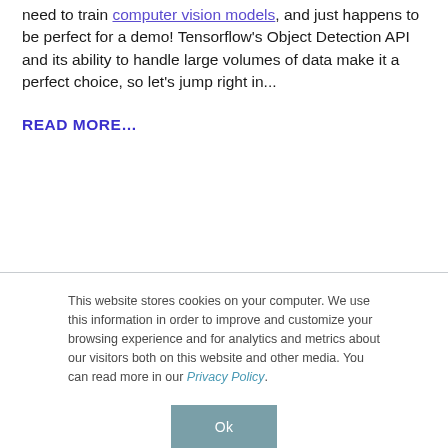need to train computer vision models, and just happens to be perfect for a demo! Tensorflow's Object Detection API and its ability to handle large volumes of data make it a perfect choice, so let's jump right in...
READ MORE...
This website stores cookies on your computer. We use this information in order to improve and customize your browsing experience and for analytics and metrics about our visitors both on this website and other media. You can read more in our Privacy Policy.